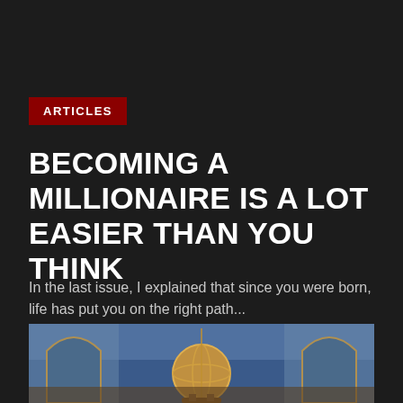ARTICLES
BECOMING A MILLIONAIRE IS A LOT EASIER THAN YOU THINK
In the last issue, I explained that since you were born, life has put you on the right path...
I AM HOPE · OCTOBER 21, 2021
[Figure (photo): Interior architectural scene with arches and a golden globe/orrery instrument, warm golden and blue tones]